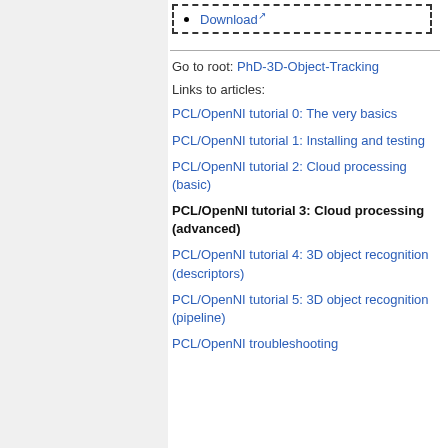Download
Go to root: PhD-3D-Object-Tracking
Links to articles:
PCL/OpenNI tutorial 0: The very basics
PCL/OpenNI tutorial 1: Installing and testing
PCL/OpenNI tutorial 2: Cloud processing (basic)
PCL/OpenNI tutorial 3: Cloud processing (advanced)
PCL/OpenNI tutorial 4: 3D object recognition (descriptors)
PCL/OpenNI tutorial 5: 3D object recognition (pipeline)
PCL/OpenNI troubleshooting